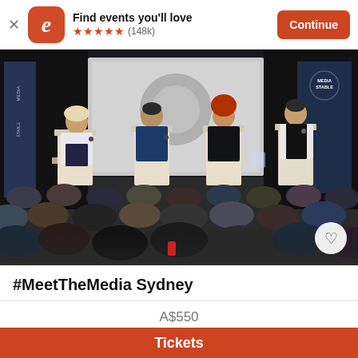Find events you'll love ★★★★★ (148k) Continue
[Figure (photo): Panel discussion at #MeetTheMedia Sydney event. Four panelists seated in white chairs on a stage with dark curtains behind them and a large projection screen. Audience seated in rows facing the panel. Media Stable banners visible on sides.]
#MeetTheMedia Sydney
A$550
Tickets